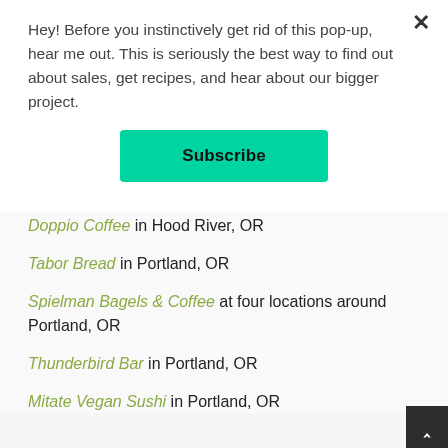Hey! Before you instinctively get rid of this pop-up, hear me out. This is seriously the best way to find out about sales, get recipes, and hear about our bigger project.
Subscribe
Doppio Coffee in Hood River, OR
Tabor Bread in Portland, OR
Spielman Bagels & Coffee at four locations around Portland, OR
Thunderbird Bar in Portland, OR
Mitate Vegan Sushi in Portland, OR